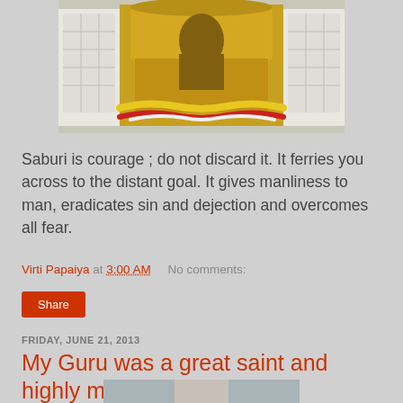[Figure (photo): Temple altar photo showing a golden ornate throne/chair with flower garlands (red, white, yellow) in front, white marble lattice walls on sides]
Saburi is courage ; do not discard it. It ferries you across to the distant goal. It gives manliness to man, eradicates sin and dejection and overcomes all fear.
Virti Papaiya at 3:00 AM   No comments:
Share
FRIDAY, JUNE 21, 2013
My Guru was a great saint and highly merciful.
[Figure (photo): Partial photo of a person, partially visible at bottom of page]